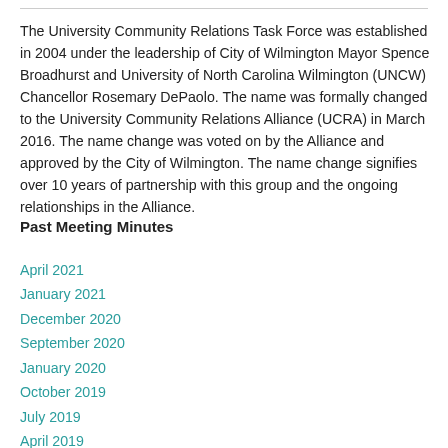The University Community Relations Task Force was established in 2004 under the leadership of City of Wilmington Mayor Spence Broadhurst and University of North Carolina Wilmington (UNCW) Chancellor Rosemary DePaolo. The name was formally changed to the University Community Relations Alliance (UCRA) in March 2016. The name change was voted on by the Alliance and approved by the City of Wilmington. The name change signifies over 10 years of partnership with this group and the ongoing relationships in the Alliance.
Past Meeting Minutes
April 2021
January 2021
December 2020
September 2020
January 2020
October 2019
July 2019
April 2019
January 2019
October 2018